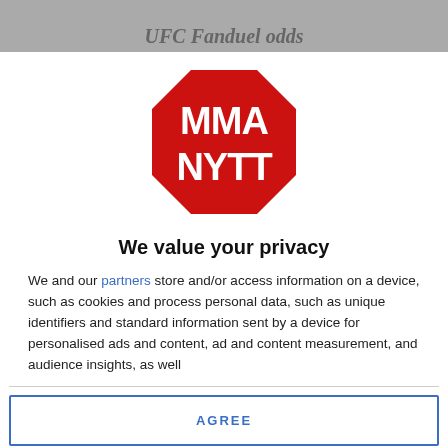[Figure (logo): MMA NYTT logo — red octagon (stop-sign shape) with white bold text 'MMA' on top line and 'NYTT' on bottom line, with a small registered trademark symbol]
We value your privacy
We and our partners store and/or access information on a device, such as cookies and process personal data, such as unique identifiers and standard information sent by a device for personalised ads and content, ad and content measurement, and audience insights, as well